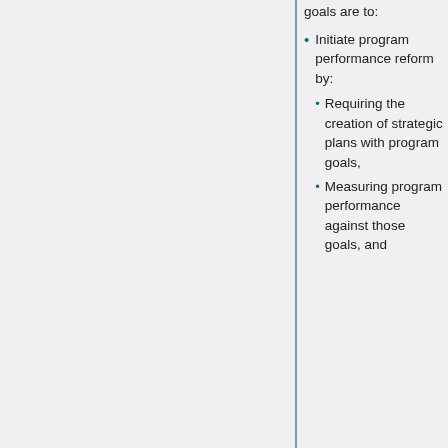goals are to:
Initiate program performance reform by:
Requiring the creation of strategic plans with program goals,
Measuring program performance against those goals, and